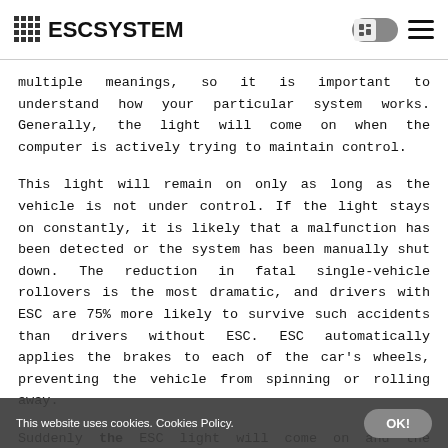ESCSYSTEM
multiple meanings, so it is important to understand how your particular system works. Generally, the light will come on when the computer is actively trying to maintain control.
This light will remain on only as long as the vehicle is not under control. If the light stays on constantly, it is likely that a malfunction has been detected or the system has been manually shut down. The reduction in fatal single-vehicle rollovers is the most dramatic, and drivers with ESC are 75% more likely to survive such accidents than drivers without ESC. ESC automatically applies the brakes to each of the car's wheels, preventing the vehicle from spinning or rolling away.
Suddenly the ESC light will come on and the vehicle will
This website uses cookies. Cookies Policy.